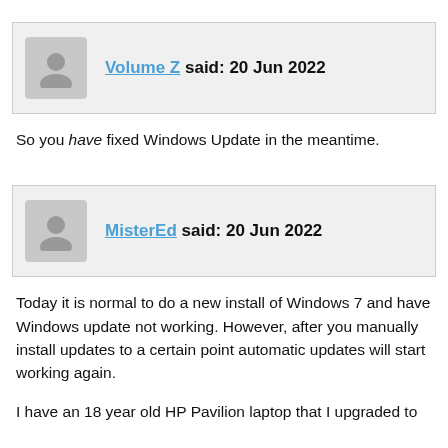Volume Z said: 20 Jun 2022
So you have fixed Windows Update in the meantime.
MisterEd said: 20 Jun 2022
Today it is normal to do a new install of Windows 7 and have Windows update not working. However, after you manually install updates to a certain point automatic updates will start working again.
I have an 18 year old HP Pavilion laptop that I upgraded to